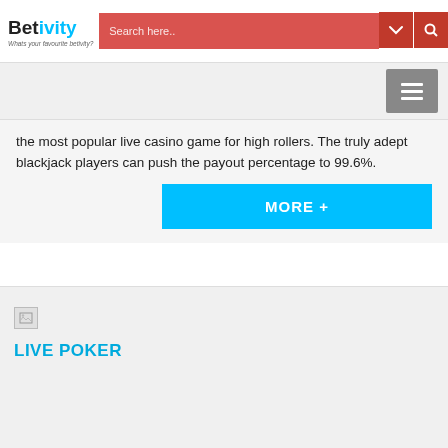[Figure (logo): Betivity.com logo with tagline 'Whats your favourite betivity?']
[Figure (screenshot): Search bar with red background and search/dropdown icons]
[Figure (screenshot): Navigation bar with hamburger menu button]
the most popular live casino game for high rollers. The truly adept blackjack players can push the payout percentage to 99.6%.
[Figure (other): Cyan MORE + button]
[Figure (photo): Broken image placeholder]
LIVE POKER